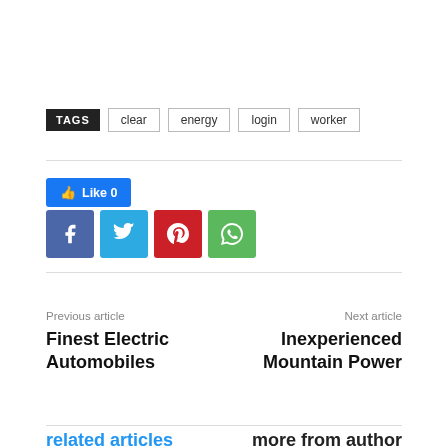TAGS  clear  energy  login  worker
[Figure (other): Social share buttons: Facebook Like (0), Facebook, Twitter, Pinterest, WhatsApp]
Previous article
Finest Electric Automobiles
Next article
Inexperienced Mountain Power
related articles   more from author